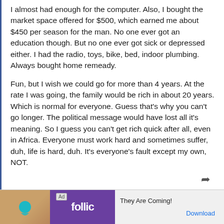I almost had enough for the computer. Also, I bought the market space offered for $500, which earned me about $450 per season for the man. No one ever got an education though. But no one ever got sick or depressed either. I had the radio, toys, bike, bed, indoor plumbing. Always bought home remeady.
Fun, but I wish we could go for more than 4 years. At the rate I was going, the family would be rich in about 20 years. Which is normal for everyone. Guess that's why you can't go longer. The political message would have lost all it's meaning. So I guess you can't get rich quick after all, even in Africa. Everyone must work hard and sometimes suffer, duh, life is hard, duh. It's everyone's fault except my own, NOT.
[Figure (other): Advertisement banner at the bottom. Shows an 'Ad' label, a tan/wood-textured image area with a bird icon, a purple square with 'follic' text logo, text 'They Are Coming!' and a 'Download' link in blue.]